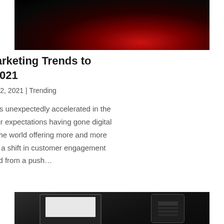[Figure (photo): Dark background photo, partially visible, with reddish light in lower right area]
Three Digital Marketing Trends to look out for in 2021
by Creative Agency | Jan 12, 2021 | Trending
Digital transformation was unexpectedly accelerated in the year 2020, with consumer expectations having gone digital and businesses around the world offering more and more digital solutions. We saw a shift in customer engagement experiences that changed from a push…
[Figure (photo): Dark photo showing a laptop and office phone on a desk, partially visible at bottom of page]